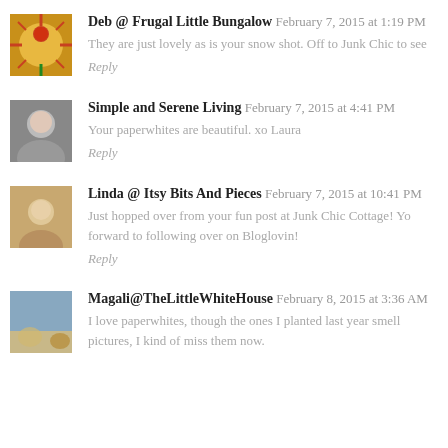Deb @ Frugal Little Bungalow February 7, 2015 at 1:19 PM
They are just lovely as is your snow shot. Off to Junk Chic to see
Reply
Simple and Serene Living February 7, 2015 at 4:41 PM
Your paperwhites are beautiful. xo Laura
Reply
Linda @ Itsy Bits And Pieces February 7, 2015 at 10:41 PM
Just hopped over from your fun post at Junk Chic Cottage! Yo forward to following over on Bloglovin!
Reply
Magali@TheLittleWhiteHouse February 8, 2015 at 3:36 AM
I love paperwhites, though the ones I planted last year smell pictures, I kind of miss them now.